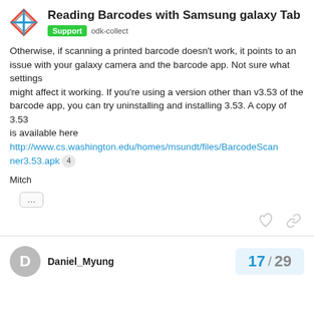Reading Barcodes with Samsung galaxy Tab | Support odk-collect
Otherwise, if scanning a printed barcode doesn't work, it points to an issue with your galaxy camera and the barcode app. Not sure what settings might affect it working. If you're using a version other than v3.53 of the barcode app, you can try uninstalling and installing 3.53. A copy of 3.53 is available here http://www.cs.washington.edu/homes/msundt/files/BarcodeScanner3.53.apk
Mitch
Daniel_Myung
17 / 29